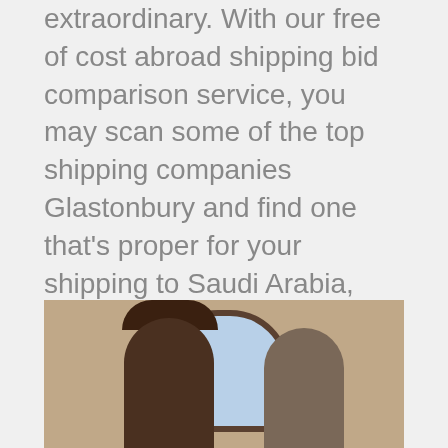Your global shipping might not be extraordinary. With our free of cost abroad shipping bid comparison service, you may scan some of the top shipping companies Glastonbury and find one that's proper for your shipping to Saudi Arabia, New Zealand, Guatemala, Botswana or any other country. We work with best Glastonbury freight forwarders offering pallet delivery from Bristol area or parcel air shipping to any part of the world.
[Figure (photo): Photo of two people at a doorway, one wearing a brown cap, with an arched window visible in the background]